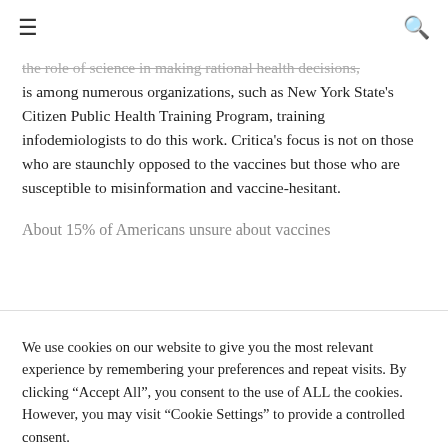☰ 🔍
the role of science in making rational health decisions, is among numerous organizations, such as New York State's Citizen Public Health Training Program, training infodemiologists to do this work. Critica's focus is not on those who are staunchly opposed to the vaccines but those who are susceptible to misinformation and vaccine-hesitant.
About 15% of Americans unsure about vaccines
We use cookies on our website to give you the most relevant experience by remembering your preferences and repeat visits. By clicking "Accept All", you consent to the use of ALL the cookies. However, you may visit "Cookie Settings" to provide a controlled consent.